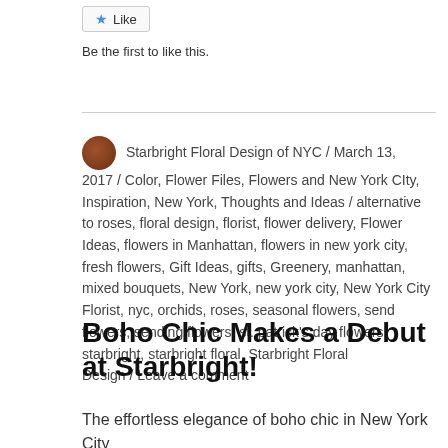[Figure (other): Like button with blue star icon]
Be the first to like this.
Starbright Floral Design of NYC / March 13, 2017 / Color, Flower Files, Flowers and New York CIty, Inspiration, New York, Thoughts and Ideas / alternative to roses, floral design, florist, flower delivery, Flower Ideas, flowers in Manhattan, flowers in new york city, fresh flowers, Gift Ideas, gifts, Greenery, manhattan, mixed bouquets, New York, new york city, New York City Florist, nyc, orchids, roses, seasonal flowers, send flowers, sending flowers, st. patrick's day flowers, starbright, starbright floral, Starbright Floral Design / Leave a comment
Boho Chic Makes a Debut at Starbright!
The effortless elegance of boho chic in New York City